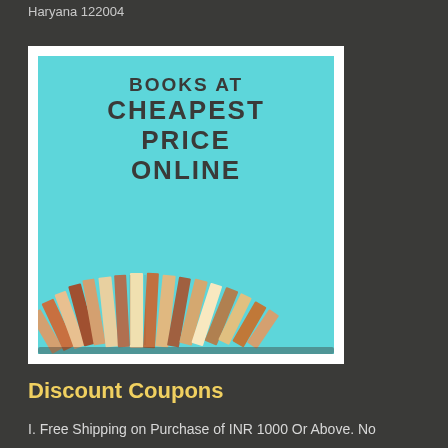Haryana 122004
[Figure (illustration): Promotional image showing stacked books arranged in a chevron/fan pattern on a teal/cyan background with bold text reading 'BOOKS AT CHEAPEST PRICE ONLINE']
Discount Coupons
I. Free Shipping on Purchase of INR 1000 Or Above. No